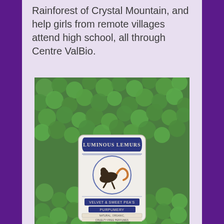Rainforest of Crystal Mountain, and help girls from remote villages attend high school, all through Centre ValBio.
[Figure (photo): A vintage-style perfume label reading 'Luminous Lemurs' with an illustration of a lemur inside a circular frame, text reading 'Velvet & Sweet Pea's Purpumery' and 'Natural, Organic, Cruelty-Free Perfumes', photographed against a background of green foliage.]